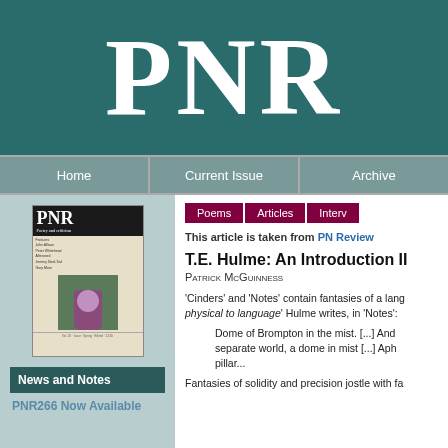PNR
Home | Current Issue | Archive
Poems | Articles | Interv
This article is taken from PN Review
T.E. Hulme: An Introduction II
Patrick McGuinness
'Cinders' and 'Notes' contain fantasies of a language... physical to language' Hulme writes, in 'Notes':
Dome of Brompton in the mist. [...] And separate world, a dome in mist [...] Aph pillar...
Fantasies of solidity and precision jostle with fa...
News and Notes
PNR266 Now Available